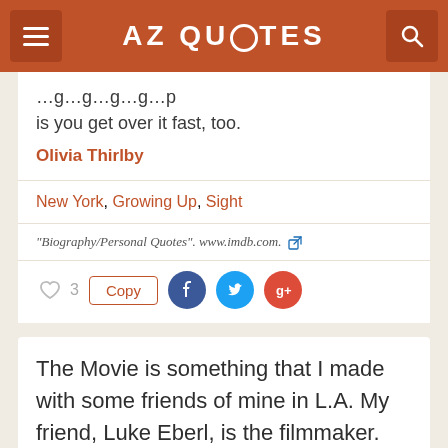AZ QUOTES
...is you get over it fast, too.
Olivia Thirlby
New York, Growing Up, Sight
"Biography/Personal Quotes". www.imdb.com.
3  Copy
The Movie is something that I made with some friends of mine in L.A. My friend, Luke Eberl, is the filmmaker. He shot this movie and asked a bunch of his friends to be involved with it. I just saw him the other day